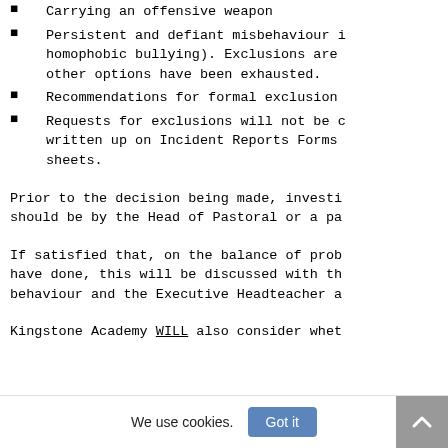Carrying an offensive weapon
Persistent and defiant misbehaviour i homophobic bullying). Exclusions are other options have been exhausted.
Recommendations for formal exclusion
Requests for exclusions will not be c written up on Incident Reports Forms sheets.
Prior to the decision being made, investi should be by the Head of Pastoral or a pa
If satisfied that, on the balance of prob have done, this will be discussed with th behaviour and the Executive Headteacher a
Kingstone Academy WILL also consider whet
We use cookies.